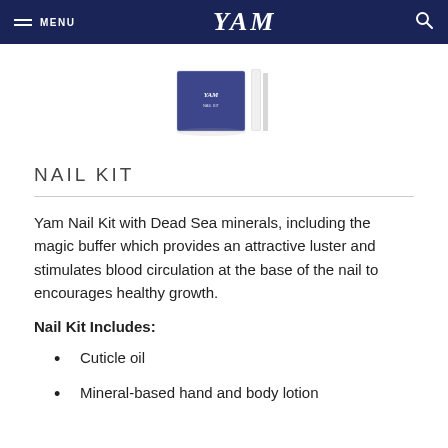MENU  YAM  [search icon]
[Figure (photo): YAM nail kit product image showing a blue box packaging and nail buffer/file tools]
NAIL KIT
Yam Nail Kit with Dead Sea minerals, including the magic buffer which provides an attractive luster and stimulates blood circulation at the base of the nail to encourages healthy growth.
Nail Kit Includes:
Cuticle oil
Mineral-based hand and body lotion